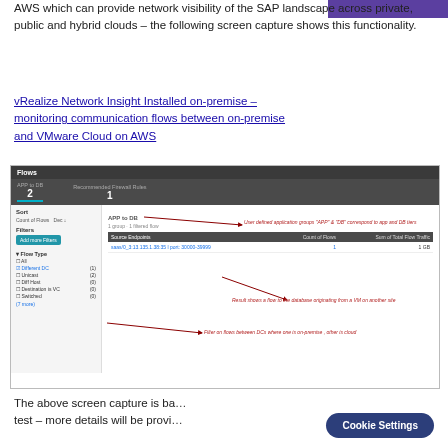AWS which can provide network visibility of the SAP landscape across private, public and hybrid clouds – the following screen capture shows this functionality.
vRealize Network Insight Installed on-premise – monitoring communication flows between on-premise and VMware Cloud on AWS
[Figure (screenshot): vRealize Network Insight screenshot showing Flows panel with APP to DB flows (count: 2), Recommended Firewall Rules (count: 1), filter panel on left showing Flow Type filter with 'Different DC' checked, and a table showing source endpoints with flow counts and total flow traffic. Annotations in red text explain: user defined application groups APP and DB correspond to app and DB tiers, result shows a flow to the database originating from a VM on another site, filter on flows between DCs where one is on-premise other is cloud.]
The above screen capture is ba... test – more details will be provi...